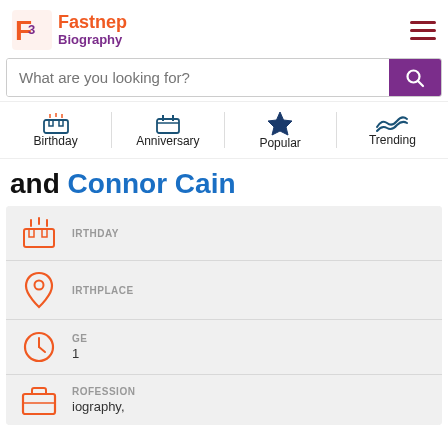Fastnep Biography
What are you looking for?
Birthday | Anniversary | Popular | Trending
and Connor Cain
BIRTHDAY
BIRTHPLACE
AGE
1
PROFESSION
Biography,